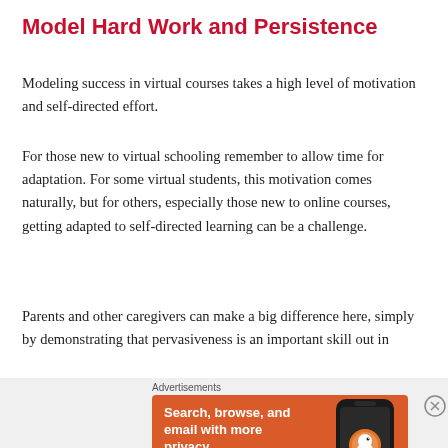Model Hard Work and Persistence
Modeling success in virtual courses takes a high level of motivation and self-directed effort.
For those new to virtual schooling remember to allow time for adaptation. For some virtual students, this motivation comes naturally, but for others, especially those new to online courses, getting adapted to self-directed learning can be a challenge.
Parents and other caregivers can make a big difference here, simply by demonstrating that pervasiveness is an important skill out in
Advertisements
[Figure (infographic): DuckDuckGo advertisement banner with orange background showing 'Search, browse, and email with more privacy. All in One Free App' with phone mockup and DuckDuckGo logo]